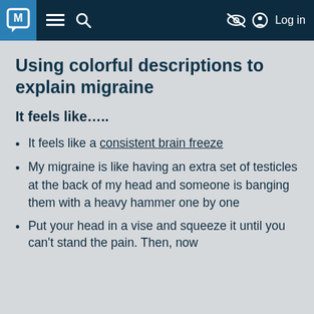M [logo] ≡ 🔍 [eye-slash icon] [user icon] Log in
Using colorful descriptions to explain migraine
It feels like…..
It feels like a consistent brain freeze
My migraine is like having an extra set of testicles at the back of my head and someone is banging them with a heavy hammer one by one
Put your head in a vise and squeeze it until you can't stand the pain. Then, now…